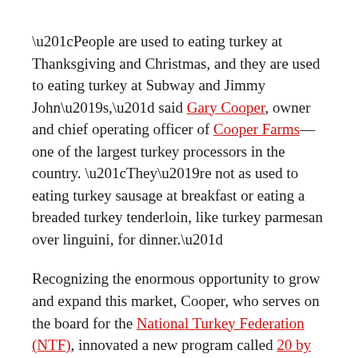“People are used to eating turkey at Thanksgiving and Christmas, and they are used to eating turkey at Subway and Jimmy John’s,” said Gary Cooper, owner and chief operating officer of Cooper Farms—one of the largest turkey processors in the country. “They’re not as used to eating turkey sausage at breakfast or eating a breaded turkey tenderloin, like turkey parmesan over linguini, for dinner.”
Recognizing the enormous opportunity to grow and expand this market, Cooper, who serves on the board for the National Turkey Federation (NTF), innovated a new program called 20 by 2020. The goal is simply to increase the consumption of turkey to 20 pounds per consumer, per year by 2020. Currently, the